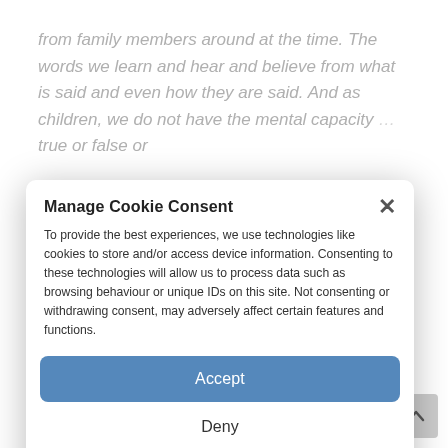from family members around at the time. The words we learn and hear and believe from what is said and even how they are said. And as children, we do not have the mental capacity … true or false or what is an interpretation of the facts. And this can make … impact … And the third is the environment we live in, where and … who is taking care of us, the front-line support system, teacher, and carer. When you are children, you do not worry about these things and live your life as it is at that moment in time. We also absorb everything in the food we eat or breathing in the air, and that can affect us now and in the future. No one has a perfectly … life, we learn from our hiccups and mishaps, pick ourselves up when we fall
Manage Cookie Consent

To provide the best experiences, we use technologies like cookies to store and/or access device information. Consenting to these technologies will allow us to process data such as browsing behaviour or unique IDs on this site. Not consenting or withdrawing consent, may adversely affect certain features and functions.

Accept

Deny

View preferences

Privacy Statement